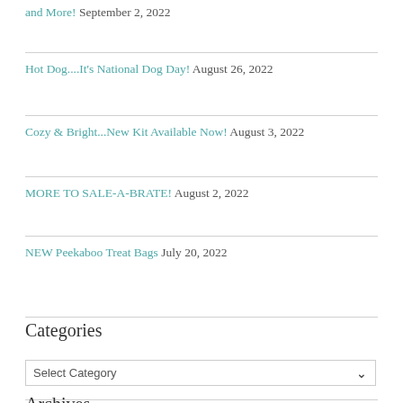and More! September 2, 2022
Hot Dog....It's National Dog Day! August 26, 2022
Cozy & Bright...New Kit Available Now! August 3, 2022
MORE TO SALE-A-BRATE! August 2, 2022
NEW Peekaboo Treat Bags July 20, 2022
Categories
Select Category
Archives